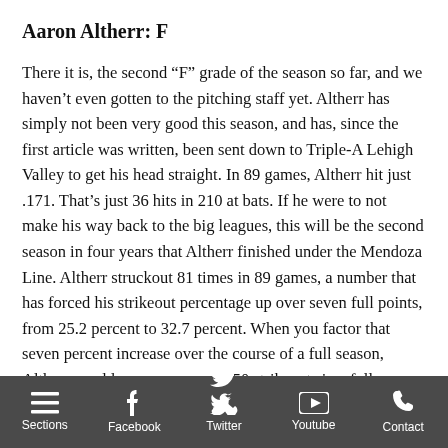Aaron Altherr: F
There it is, the second “F” grade of the season so far, and we haven’t even gotten to the pitching staff yet. Altherr has simply not been very good this season, and has, since the first article was written, been sent down to Triple-A Lehigh Valley to get his head straight. In 89 games, Altherr hit just .171. That’s just 36 hits in 210 at bats. If he were to not make his way back to the big leagues, this will be the second season in four years that Altherr finished under the Mendoza Line. Altherr struckout 81 times in 89 games, a number that has forced his strikeout percentage up over seven full points, from 25.2 percent to 32.7 percent. When you factor that seven percent increase over the course of a full season, Altherr would average around 150 strikeouts in a full season.
Sections  Facebook  Twitter  Youtube  Contact